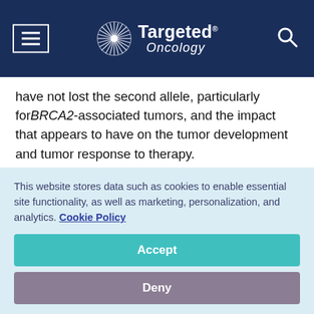Targeted Oncology
have not lost the second allele, particularly for BRCA2-associated tumors, and the impact that appears to have on the tumor development and tumor response to therapy.
This is a surprising finding. I would not have thought in advance that we would have identified such a high percentage of tumors that had not lost the
This website stores data such as cookies to enable essential site functionality, as well as marketing, personalization, and analytics. Cookie Policy
Accept
Deny